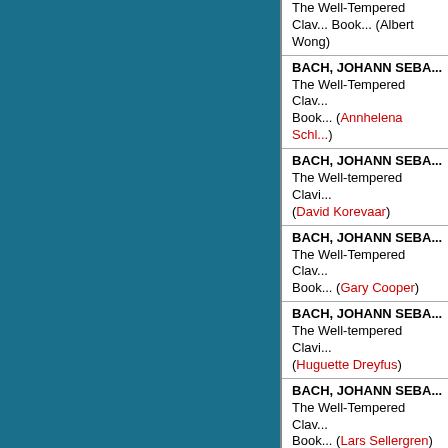BACH, JOHANN SEBA... The Well-Tempered Clav... Book... (Albert Wong)
BACH, JOHANN SEBA... The Well-Tempered Clav... Book... (Annhelena Schl...)
BACH, JOHANN SEBA... The Well-tempered Clavi... (David Korevaar)
BACH, JOHANN SEBA... The Well-Tempered Clav... Book... (Gary Cooper)
BACH, JOHANN SEBA... The Well-tempered Clavi... (Huguette Dreyfus)
BACH, JOHANN SEBA... The Well-Tempered Clav... Book... (Lars Sellergren)
BACH, JOHANN SEBA... The Well-Tempered Clav... Book... (Luc Beauséjour)
BACH, JOHANN SEBA... The Well-Tempered Clav... Book... (Ralph Kirkpatric...)
BACH, JOHANN SEBA... The Well-Tempered Clav...